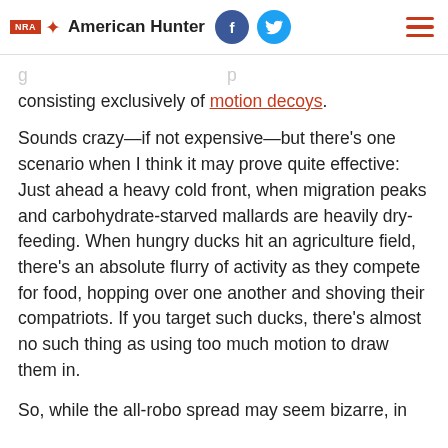NRA American Hunter
consisting exclusively of motion decoys.
Sounds crazy—if not expensive—but there's one scenario when I think it may prove quite effective: Just ahead a heavy cold front, when migration peaks and carbohydrate-starved mallards are heavily dry-feeding. When hungry ducks hit an agriculture field, there's an absolute flurry of activity as they compete for food, hopping over one another and shoving their compatriots. If you target such ducks, there's almost no such thing as using too much motion to draw them in.
So, while the all-robo spread may seem bizarre, in